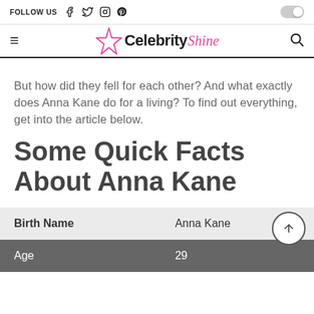FOLLOW US [social icons: Facebook, Twitter, Instagram, Pinterest] [toggle]
Celebrity Shine [logo with star]
But how did they fell for each other? And what exactly does Anna Kane do for a living? To find out everything, get into the article below.
Some Quick Facts About Anna Kane
|  |  |
| --- | --- |
| Birth Name | Anna Kane |
| Age | 29 |